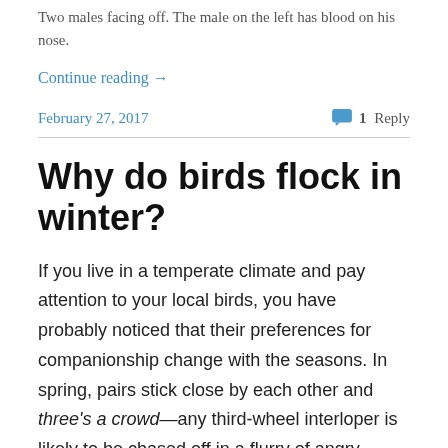Two males facing off. The male on the left has blood on his nose.
Continue reading →
February 27, 2017   1 Reply
Why do birds flock in winter?
If you live in a temperate climate and pay attention to your local birds, you have probably noticed that their preferences for companionship change with the seasons. In spring, pairs stick close by each other and three's a crowd—any third-wheel interloper is likely to be chased off in a flurry of angry wingbeats. But in fall and winter, the birds suddenly become community minded, travelling around in flocks of dozens of their fellows. In Chicago in